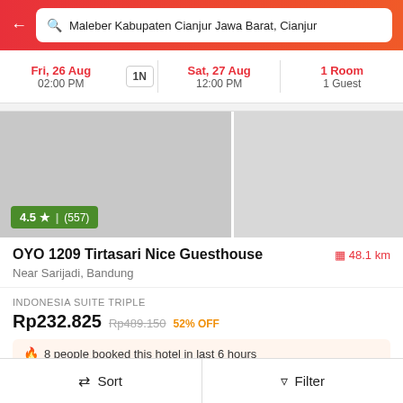Maleber Kabupaten Cianjur Jawa Barat, Cianjur
Fri, 26 Aug 02:00 PM | 1N | Sat, 27 Aug 12:00 PM | 1 Room 1 Guest
[Figure (screenshot): Hotel image showing OYO 1209 Tirtasari Nice Guesthouse with rating badge 4.5 star (557)]
OYO 1209 Tirtasari Nice Guesthouse
48.1 km
Near Sarijadi, Bandung
INDONESIA SUITE TRIPLE
Rp232.825 Rp489.150 52% OFF
8 people booked this hotel in last 6 hours
Sort | Filter